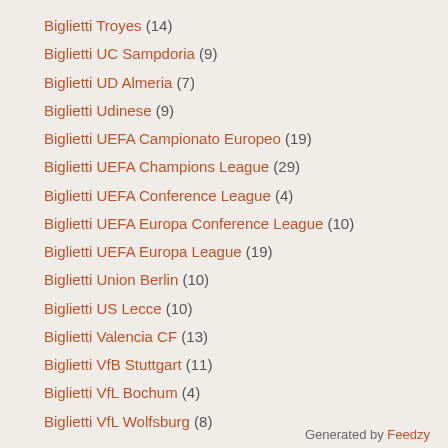Biglietti Troyes (14)
Biglietti UC Sampdoria (9)
Biglietti UD Almeria (7)
Biglietti Udinese (9)
Biglietti UEFA Campionato Europeo (19)
Biglietti UEFA Champions League (29)
Biglietti UEFA Conference League (4)
Biglietti UEFA Europa Conference League (10)
Biglietti UEFA Europa League (19)
Biglietti Union Berlin (10)
Biglietti US Lecce (10)
Biglietti Valencia CF (13)
Biglietti VfB Stuttgart (11)
Biglietti VfL Bochum (4)
Biglietti VfL Wolfsburg (8)
Generated by Feedzy